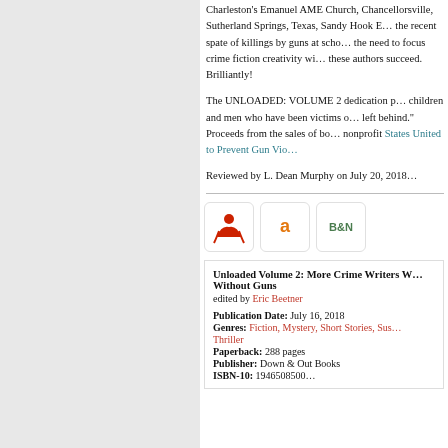Charleston's Emanuel AME Church, Chancellorsville, Sutherland Springs, Texas, Sandy Hook Elementary, the recent spate of killings by guns at school—justify the need to focus crime fiction creativity with guns... these authors succeed. Brilliantly!
The UNLOADED: VOLUME 2 dedication page lists the children and men who have been victims of gun violence 'left behind.' Proceeds from the sales of books go to the nonprofit States United to Prevent Gun Vio...
Reviewed by L. Dean Murphy on July 20, 2018
[Figure (logo): Three retailer buy buttons: IndieBound (red wings logo), Amazon (orange 'a' logo), Barnes & Noble (B&N green logo)]
Unloaded Volume 2: More Crime Writers Write Without Guns
edited by Eric Beetner

Publication Date: July 16, 2018
Genres: Fiction, Mystery, Short Stories, Suspense, Thriller
Paperback: 288 pages
Publisher: Down & Out Books
ISBN-10: 1946508500